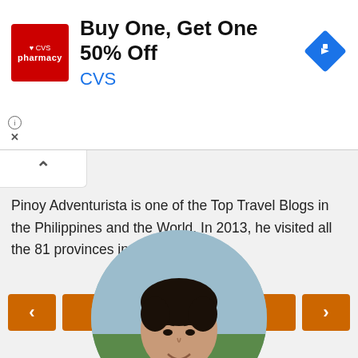[Figure (screenshot): CVS Pharmacy advertisement banner: red CVS logo on left, text 'Buy One, Get One 50% Off' in bold black and 'CVS' in blue, blue diamond navigation arrow icon on right. Info (i) circle and X close button at bottom left.]
Pinoy Adventurista is one of the Top Travel Blogs in the Philippines and the World. In 2013, he visited all the 81 provinces in the Philippines.
[Figure (screenshot): Navigation buttons row: left arrow button (orange), Home button (orange, center), right arrow button (orange)]
View web version
[Figure (photo): Circular cropped profile photo of a young man with dark hair, smiling, with outdoor background (blue sky and green foliage).]